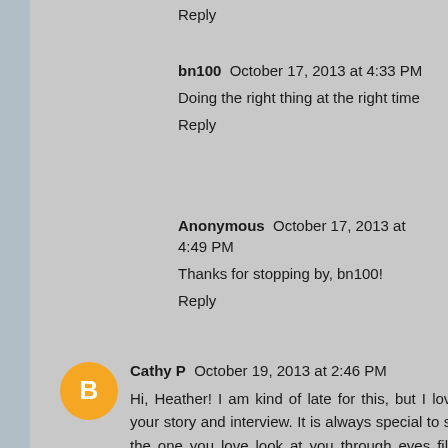Reply
bn100  October 17, 2013 at 4:33 PM
Doing the right thing at the right time
Reply
Anonymous  October 17, 2013 at 4:49 PM
Thanks for stopping by, bn100!
Reply
Cathy P  October 19, 2013 at 2:46 PM
Hi, Heather! I am kind of late for this, but I loved your story and interview. It is always special to see the one you love look at you through eyes filled with love and wanting. Especially if they are in the service and you don't get to see that much of each other. Honesty and integrity go hand in hand no matter how hard it may